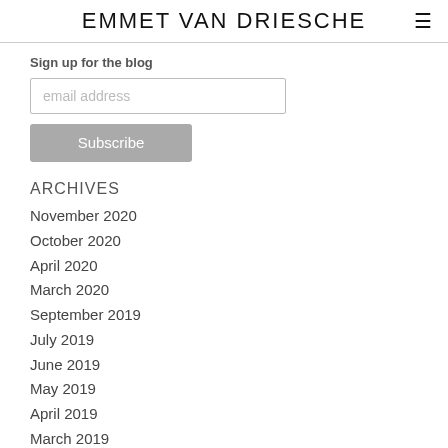EMMET VAN DRIESCHE
Sign up for the blog
email address
Subscribe
ARCHIVES
November 2020
October 2020
April 2020
March 2020
September 2019
July 2019
June 2019
May 2019
April 2019
March 2019
February 2019